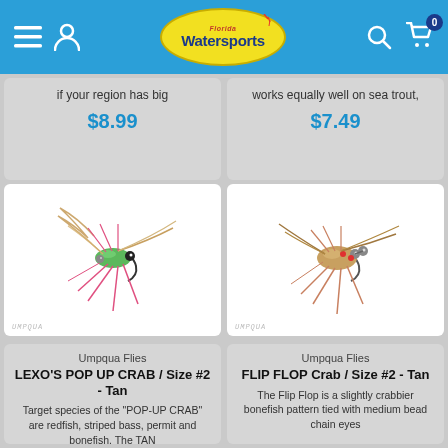Florida Watersports - navigation header with cart showing 0 items
if your region has big
$8.99
works equally well on sea trout,
$7.49
[Figure (photo): Umpqua Flies - LEXO'S POP UP CRAB fly - tan colored fly fishing lure with green body, pink legs, and feather wings with Umpqua watermark]
[Figure (photo): Umpqua Flies - FLIP FLOP Crab fly - tan/brown crab pattern fly fishing lure with bead chain eyes and pink/tan legs with Umpqua watermark]
Umpqua Flies
LEXO'S POP UP CRAB / Size #2 - Tan
Target species of the "POP-UP CRAB" are redfish, striped bass, permit and bonefish. The TAN
Umpqua Flies
FLIP FLOP Crab / Size #2 - Tan
The Flip Flop is a slightly crabbier bonefish pattern tied with medium bead chain eyes